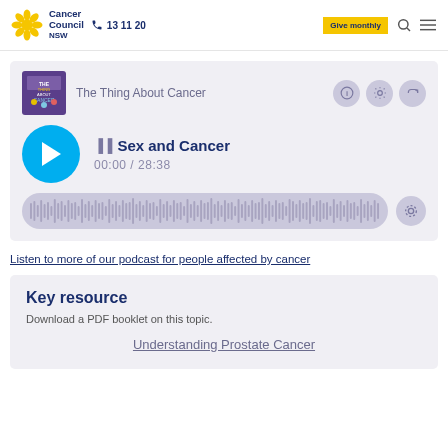Cancer Council NSW  13 11 20  Give monthly
[Figure (screenshot): Podcast player widget showing 'The Thing About Cancer' podcast, episode 'Sex and Cancer', time 00:00 / 28:38, with play button, waveform, and control icons]
Listen to more of our podcast for people affected by cancer
Key resource
Download a PDF booklet on this topic.
Understanding Prostate Cancer